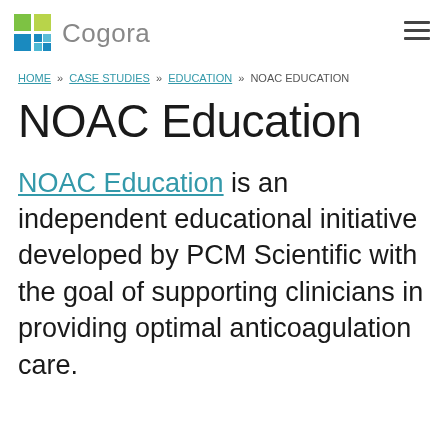Cogora
HOME » CASE STUDIES » EDUCATION » NOAC EDUCATION
NOAC Education
NOAC Education is an independent educational initiative developed by PCM Scientific with the goal of supporting clinicians in providing optimal anticoagulation care.